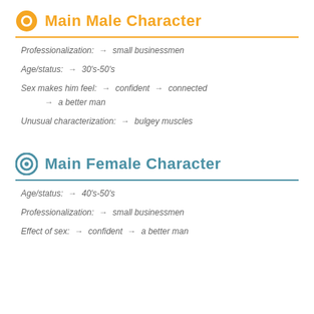Main Male Character
Professionalization: → small businessmen
Age/status: → 30's-50's
Sex makes him feel: → confident → connected → a better man
Unusual characterization: → bulgey muscles
Main Female Character
Age/status: → 40's-50's
Professionalization: → small businessmen
Effect of sex: → confident → a better man